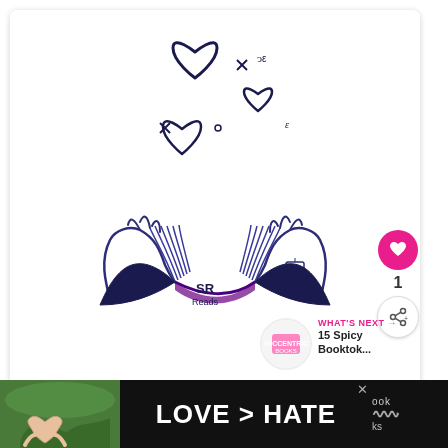[Figure (illustration): Illustration of two hands holding an open book with hearts floating above it, with small crosses and circles, drawn in dark navy/purple line art style. 'SR' logo watermark visible at bottom center of book.]
1
WHAT'S NEXT → 15 Spicy Booktok...
Want even more book lists?
[Figure (photo): Advertisement banner with dark background. Left side shows photo of hands making a heart shape. Center reads 'LOVE > HATE' in large white bold text. Right side shows partial text 'ook' and 'oks' with wavy icon. Close X button visible.]